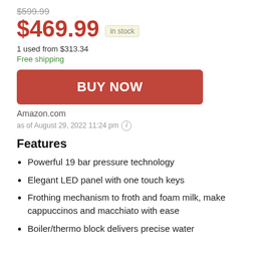$599.99 (strikethrough)
$469.99 in stock
1 used from $313.34
Free shipping
BUY NOW
Amazon.com
as of August 29, 2022 11:24 pm
Features
Powerful 19 bar pressure technology
Elegant LED panel with one touch keys
Frothing mechanism to froth and foam milk, make cappuccinos and macchiato with ease
Boiler/thermo block delivers precise water